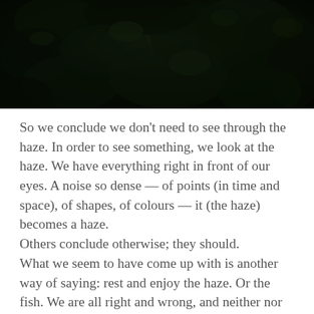[Figure (photo): Dark photograph of dense foliage and leaves, very low-key lighting with deep shadows and dark greens]
So we conclude we don't need to see through the haze. In order to see something, we look at the haze. We have everything right in front of our eyes. A noise so dense — of points (in time and space), of shapes, of colours — it (the haze) becomes a haze.
Others conclude otherwise; they should.
What we seem to have come up with is another way of saying: rest and enjoy the haze. Or the fish. We are all right and wrong, and neither nor (you, me, Peter) because these categories don't apply in